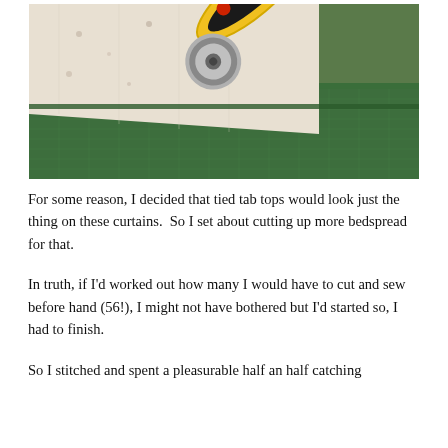[Figure (photo): A photograph showing a rotary cutter with yellow and black handle resting on a green cutting mat, with floral patterned fabric (bedspread) in the background.]
For some reason, I decided that tied tab tops would look just the thing on these curtains.  So I set about cutting up more bedspread for that.
In truth, if I'd worked out how many I would have to cut and sew before hand (56!), I might not have bothered but I'd started so, I had to finish.
So I stitched and spent a pleasurable half an half catching